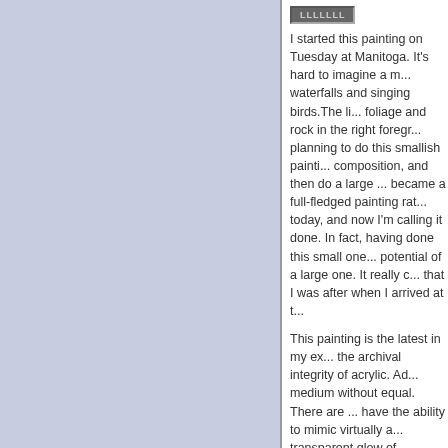[Figure (other): A button or label graphic at top of right panel]
I started this painting on Tuesday at Manitoga. It's hard to imagine a more beautiful setting, with waterfalls and singing birds. The li... foliage and rock in the right foregr... planning to do this smallish painti... composition, and then do a large ... became a full-fledged painting rat... today, and now I'm calling it done. In fact, having done this small one... potential of a large one. It really c... that I was after when I arrived at t...
This painting is the latest in my ex... the archival integrity of acrylic. Ad... medium without equal. There are ... have the ability to mimic virtually a... transparent glow of watercolor, ar...
The painting was done using the ... an airbrush! I'm using them with t... were Hansa Yellow Medium, Dian... Oxide (Transparent), Quinacridon... White. I also used some Ultrama... that with their Airbrush Medium. It... desperate for that color! I am lovir... well as the process. They enable ... colors on a wet surface, and lift lik... opposite direction, and paint with ... love!
8x12 to 12x24, Acrylic paintings